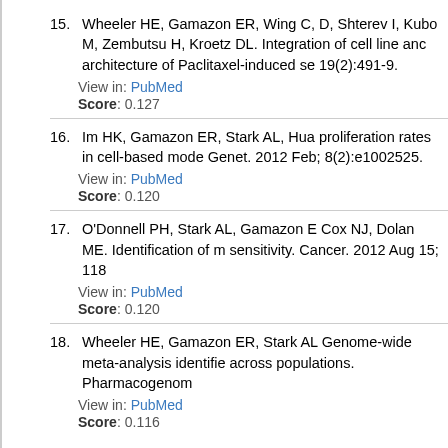15. Wheeler HE, Gamazon ER, Wing C, D, Shterev I, Kubo M, Zembutsu H, Kroetz DL. Integration of cell line and architecture of Paclitaxel-induced se 19(2):491-9.
View in: PubMed
Score: 0.127
16. Im HK, Gamazon ER, Stark AL, Hua proliferation rates in cell-based mode Genet. 2012 Feb; 8(2):e1002525.
View in: PubMed
Score: 0.120
17. O'Donnell PH, Stark AL, Gamazon E Cox NJ, Dolan ME. Identification of m sensitivity. Cancer. 2012 Aug 15; 118 View in: PubMed
Score: 0.120
18. Wheeler HE, Gamazon ER, Stark AL Genome-wide meta-analysis identifie across populations. Pharmacogenom
View in: PubMed
Score: 0.116